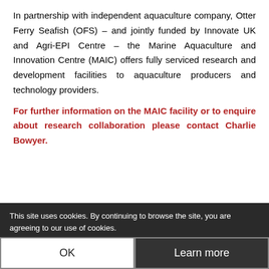In partnership with independent aquaculture company, Otter Ferry Seafish (OFS) – and jointly funded by Innovate UK and Agri-EPI Centre – the Marine Aquaculture and Innovation Centre (MAIC) offers fully serviced research and development facilities to aquaculture producers and technology providers.
For further information on the MAIC facility or to enquire about research collaboration please contact Charlie Bowyer.
Get the Latest on Agri-Tech!
Interested in staying up to date with the latest in agricultural technology? Subscribe to our Agri-EPI newsletter!
Email Address *
E.g. john@somedomain.com
Subscribe
This site uses cookies. By continuing to browse the site, you are agreeing to our use of cookies.
OK
Learn more